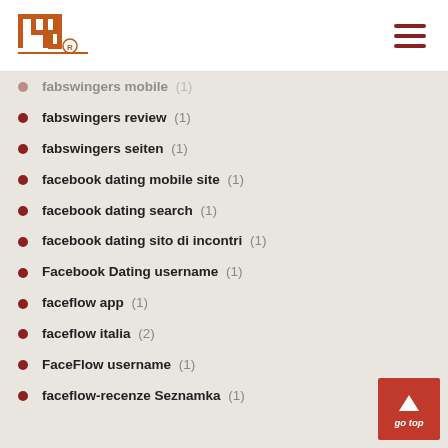INP logo and navigation
fabswingers mobile (1)
fabswingers review (1)
fabswingers seiten (1)
facebook dating mobile site (1)
facebook dating search (1)
facebook dating sito di incontri (1)
Facebook Dating username (1)
faceflow app (1)
faceflow italia (2)
FaceFlow username (1)
faceflow-recenze Seznamka (1)